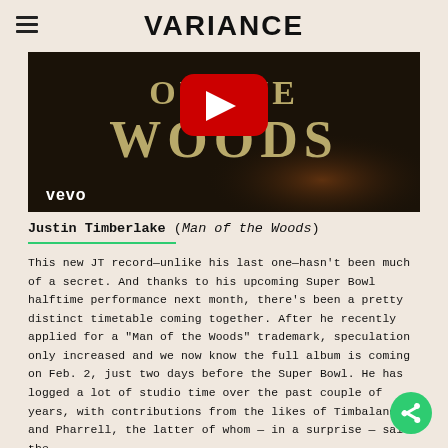VARIANCE
[Figure (screenshot): YouTube/Vevo video thumbnail showing 'OF THE WOODS' text in gold on dark background with YouTube play button overlay and Vevo logo]
Justin Timberlake (Man of the Woods)
This new JT record—unlike his last one—hasn't been much of a secret. And thanks to his upcoming Super Bowl halftime performance next month, there's been a pretty distinct timetable coming together. After he recently applied for a "Man of the Woods" trademark, speculation only increased and we now know the full album is coming on Feb. 2, just two days before the Super Bowl. He has logged a lot of studio time over the past couple of years, with contributions from the likes of Timbaland and Pharrell, the latter of whom — in a surprise — said the